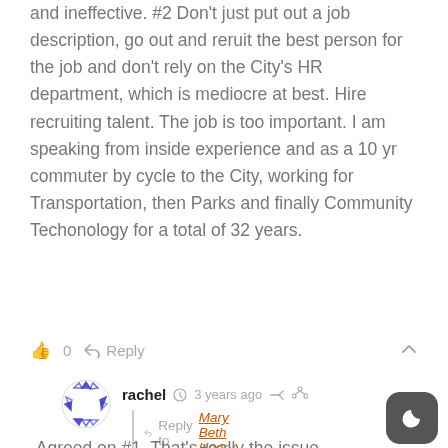and ineffective. #2 Don't just put out a job description, go out and reruit the best person for the job and don't rely on the City's HR department, which is mediocre at best. Hire recruiting talent. The job is too important. I am speaking from inside experience and as a 10 yr commuter by cycle to the City, working for Transportation, then Parks and finally Community Techonology for a total of 32 years.
0  Reply
[Figure (illustration): Circular avatar icon with blue triangle/arrow pattern around the edge on white background]
rachel  3 years ago  Reply to Mary Beth Henry  "Agreed on #1. That's really the issue